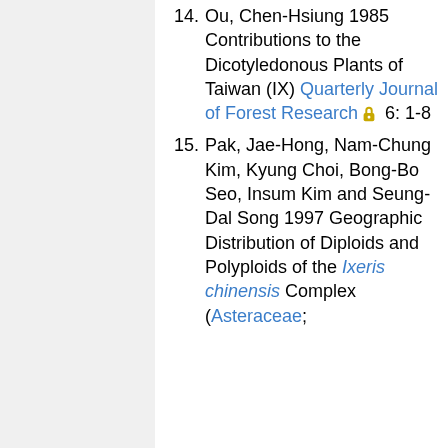14. Ou, Chen-Hsiung 1985 Contributions to the Dicotyledonous Plants of Taiwan (IX) Quarterly Journal of Forest Research 6: 1-8
15. Pak, Jae-Hong, Nam-Chung Kim, Kyung Choi, Bong-Bo Seo, Insum Kim and Seung-Dal Song 1997 Geographic Distribution of Diploids and Polyploids of the Ixeris chinensis Complex (Asteraceae;